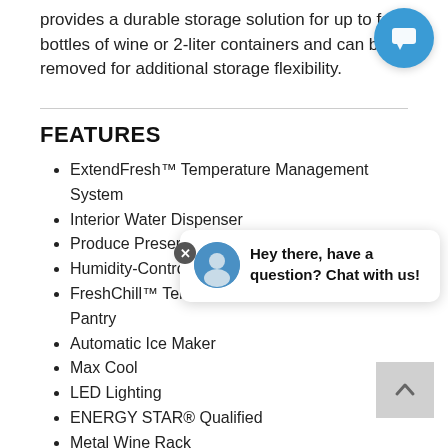provides a durable storage solution for up to four bottles of wine or 2-liter containers and can be removed for additional storage flexibility.
FEATURES
ExtendFresh™ Temperature Management System
Interior Water Dispenser
Produce Preserver
Humidity-Controlled Crispers
FreshChill™ Temperature-Controlled Full-Width Pantry
Automatic Ice Maker
Max Cool
LED Lighting
ENERGY STAR® Qualified
Metal Wine Rack